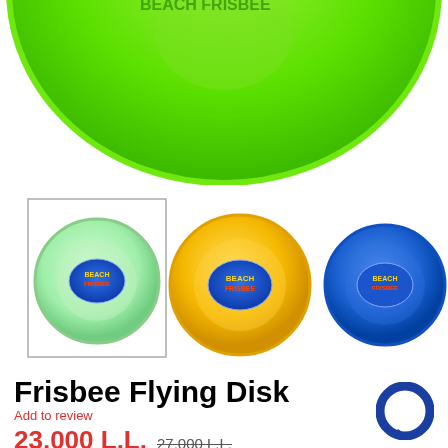[Figure (photo): Large green frisbee flying disk seen from above, cropped at top of page]
[Figure (photo): Three frisbee flying disks side by side: light green (with border box), yellow, and blue, all with Beach Frisbee logo in center]
Frisbee Flying Disk
Add to review
23,000 L.L.  27,000 L.L.
Product size: 18 cm  Age: 3+ years  Color: Green , Yellow , Blue